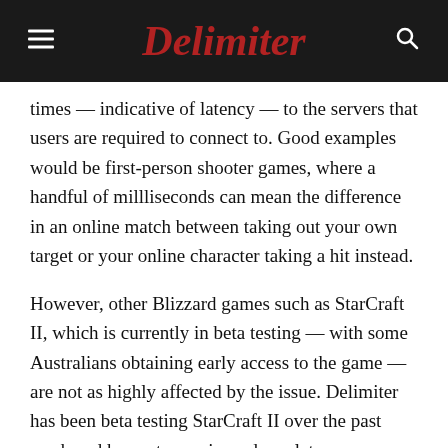Delimiter
times — indicative of latency — to the servers that users are required to connect to. Good examples would be first-person shooter games, where a handful of millliseconds can mean the difference in an online match between taking out your own target or your online character taking a hit instead.
However, other Blizzard games such as StarCraft II, which is currently in beta testing — with some Australians obtaining early access to the game — are not as highly affected by the issue. Delimiter has been beta testing StarCraft II over the past week and has not experienced any latency difficulties on an ADSL2+ connection.
It's not hard to find complaints online about poor ping times for WoW in Australia. For example, back in 2007 a gamer named